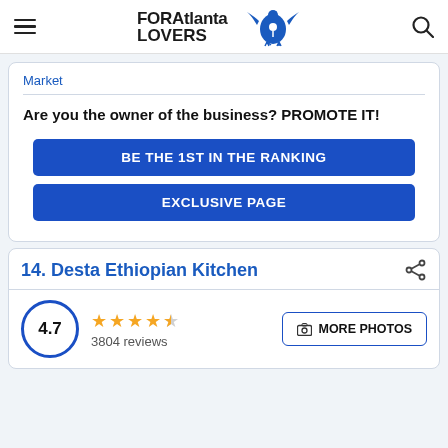FOR Atlanta LOVERS
Market
Are you the owner of the business? PROMOTE IT!
BE THE 1ST IN THE RANKING
EXCLUSIVE PAGE
14. Desta Ethiopian Kitchen
4.7 — 3804 reviews — MORE PHOTOS